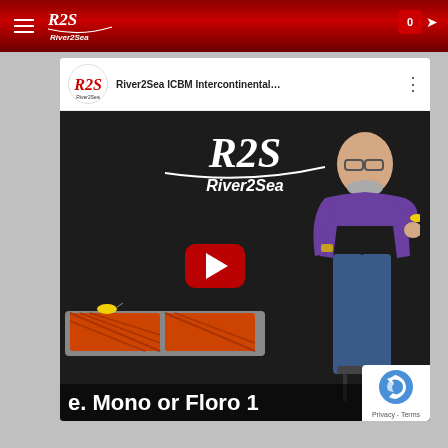River2Sea — Navigation bar with hamburger menu and cart (0)
[Figure (screenshot): YouTube embedded video player showing River2Sea ICBM Intercontinental... video. A man in a purple shirt holds a yellow fishing lure in front of a River2Sea branded backdrop. A play button is visible in the center. Bottom subtitle reads: e. Mono or Floro 1. A reCAPTCHA Privacy - Terms badge appears in the bottom right.]